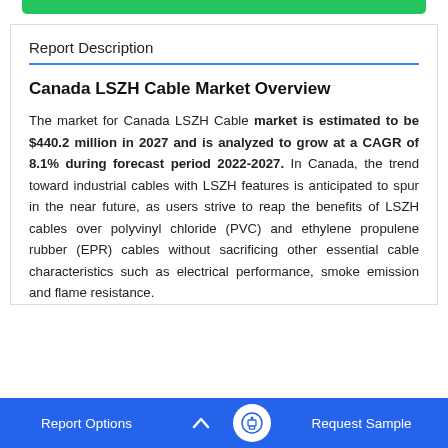Report Description
Canada LSZH Cable Market Overview
The market for Canada LSZH Cable market is estimated to be $440.2 million in 2027 and is analyzed to grow at a CAGR of 8.1% during forecast period 2022-2027. In Canada, the trend toward industrial cables with LSZH features is anticipated to spur in the near future, as users strive to reap the benefits of LSZH cables over polyvinyl chloride (PVC) and ethylene propulene rubber (EPR) cables without sacrificing other essential cable characteristics such as electrical performance, smoke emission and flame resistance.
Report Options  ^  Request Sample